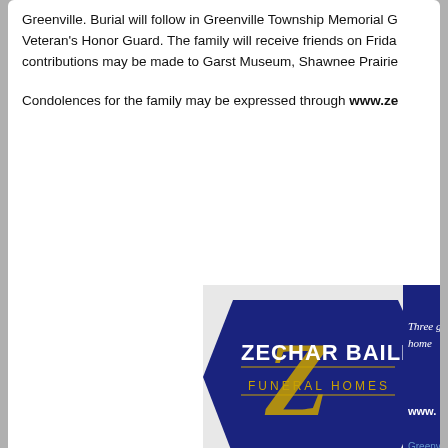Greenville. Burial will follow in Greenville Township Memorial G... Veteran's Honor Guard. The family will receive friends on Frida... contributions may be made to Garst Museum, Shawnee Prairie...
Condolences for the family may be expressed through www.ze...
[Figure (logo): Zechar Bailey Funeral Homes logo with gold decorative Z monogram on navy blue hexagonal badge shape, text reading 'ZECHAR BAILEY FUNERAL HOMES', with tagline 'Three ge... home...' and 'www.' and 'Greenvi...' visible]
Timothy A. Ridenour (September 4, 2016)
Timothy A. Ridenour, 56 of Greenville, Ohio, passed away on S... caregiver by his side at the James Cancer Center at Ohio State... 1959 in Shelby, Ohio the son of Jean & Mel Evenden of Troy an... States Navy. He retired from the Greenville Fire Department in...
He was a member of St. Mary's Catholic Church, Heights of M...